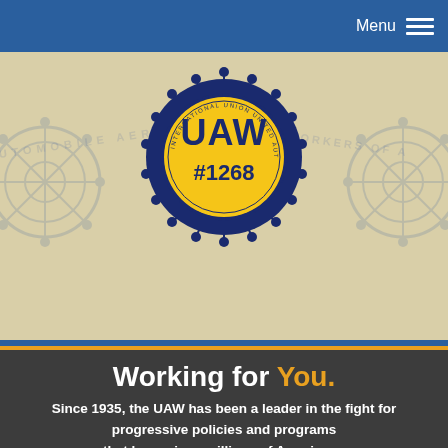Menu
[Figure (logo): UAW Local #1268 circular logo with gear/sun rays border on a beige banner background with faded wheel watermarks on left and right]
Working for You.
Since 1935, the UAW has been a leader in the fight for progressive policies and programs that have given millions of Americans the opportunity to realize the American Dream.
Join UAW Now...